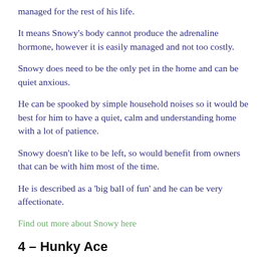managed for the rest of his life.
It means Snowy's body cannot produce the adrenaline hormone, however it is easily managed and not too costly.
Snowy does need to be the only pet in the home and can be quiet anxious.
He can be spooked by simple household noises so it would be best for him to have a quiet, calm and understanding home with a lot of patience.
Snowy doesn't like to be left, so would benefit from owners that can be with him most of the time.
He is described as a 'big ball of fun' and he can be very affectionate.
Find out more about Snowy here
4 – Hunky Ace